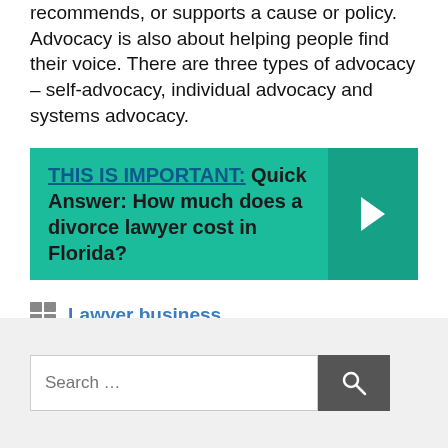recommends, or supports a cause or policy. Advocacy is also about helping people find their voice. There are three types of advocacy – self-advocacy, individual advocacy and systems advocacy.
[Figure (infographic): Teal callout box with text 'THIS IS IMPORTANT: Quick Answer: How much does a divorce lawyer cost in Florida?' with a darker teal right-arrow panel on the right side.]
Lawyer business
[Figure (other): Search bar with placeholder 'Search …' and a dark grey search button with magnifying glass icon.]